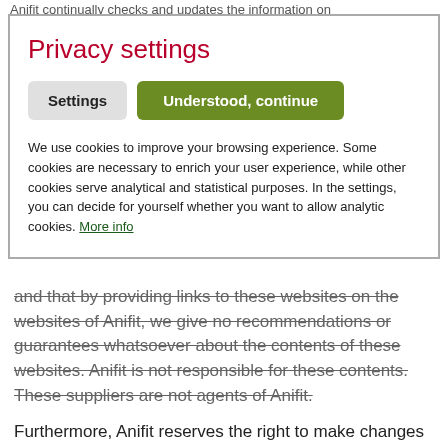Anifit continually checks and updates the information on
Privacy settings
Settings   Understood, continue
We use cookies to improve your browsing experience. Some cookies are necessary to enrich your user experience, while other cookies serve analytical and statistical purposes. In the settings, you can decide for yourself whether you want to allow analytic cookies. More info
and that by providing links to these websites on the websites of Anifit, we give no recommendations or guarantees whatsoever about the contents of these websites. Anifit is not responsible for these contents. These suppliers are not agents of Anifit.
Furthermore, Anifit reserves the right to make changes or amendments to the information and data provided.
The content and structure of the Anifit website is subject to copyright law. Any information or data, particularly texts, part of texts or pictures, must not be copied or